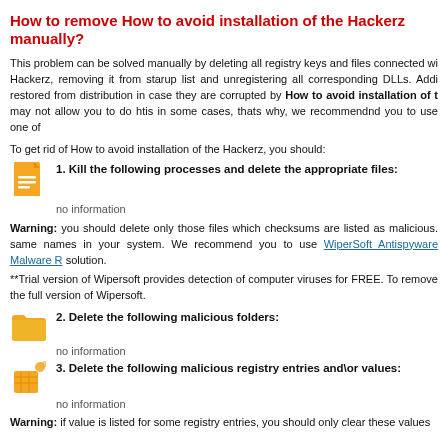How to remove How to avoid installation of the Hackerz manually?
This problem can be solved manually by deleting all registry keys and files connected with Hackerz, removing it from starup list and unregistering all corresponding DLLs. Additionally, missing or corrupted system components can be restored from distribution in case they are corrupted by How to avoid installation of the Hackerz. However, this may not allow you to do htis in some cases, thats why, we recommendnd you to use one of
To get rid of How to avoid installation of the Hackerz, you should:
1. Kill the following processes and delete the appropriate files:
no information
Warning: you should delete only those files which checksums are listed as malicious. There may be valid files with the same names in your system. We recommend you to use WiperSoft Antispyware Malware Remediation Tool for safe problem solution.
**Trial version of Wipersoft provides detection of computer viruses for FREE. To remove malware, you have to purchase the full version of Wipersoft.
2. Delete the following malicious folders:
no information
3. Delete the following malicious registry entries and\or values:
no information
Warning: if value is listed for some registry entries, you should only clear these values and not delete